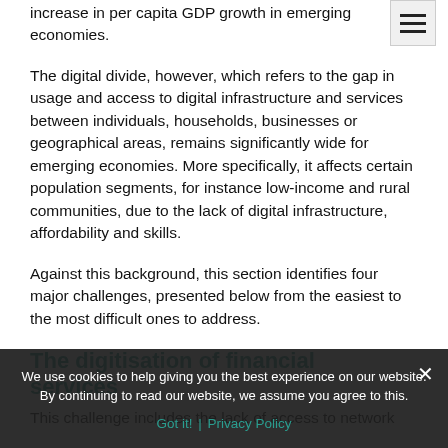increase in per capita GDP growth in emerging economies.
The digital divide, however, which refers to the gap in usage and access to digital infrastructure and services between individuals, households, businesses or geographical areas, remains significantly wide for emerging economies. More specifically, it affects certain population segments, for instance low-income and rural communities, due to the lack of digital infrastructure, affordability and skills.
Against this background, this section identifies four major challenges, presented below from the easiest to the most difficult ones to address.
The digitisation of financial services
This challenge includes the lack of access to network